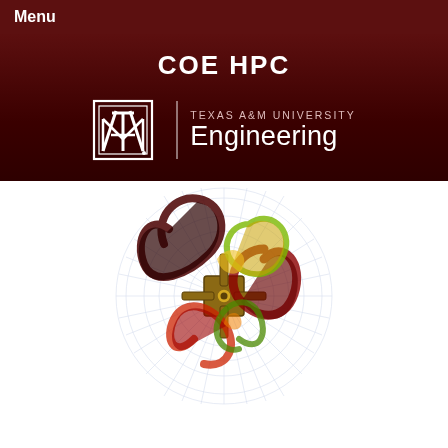Menu
COE HPC
[Figure (logo): Texas A&M University Engineering logo with ATM seal and text]
[Figure (engineering-diagram): Computational fluid dynamics simulation showing a turbine/fan with swirling flow visualization, rendered with polar grid lines and colorful vortex patterns in red, green, yellow, and dark tones]